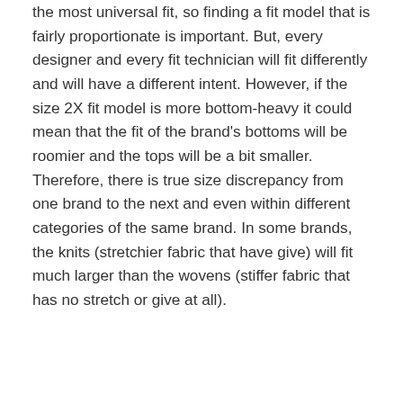the most universal fit, so finding a fit model that is fairly proportionate is important. But, every designer and every fit technician will fit differently and will have a different intent. However, if the size 2X fit model is more bottom-heavy it could mean that the fit of the brand's bottoms will be roomier and the tops will be a bit smaller. Therefore, there is true size discrepancy from one brand to the next and even within different categories of the same brand. In some brands, the knits (stretchier fabric that have give) will fit much larger than the wovens (stiffer fabric that has no stretch or give at all).